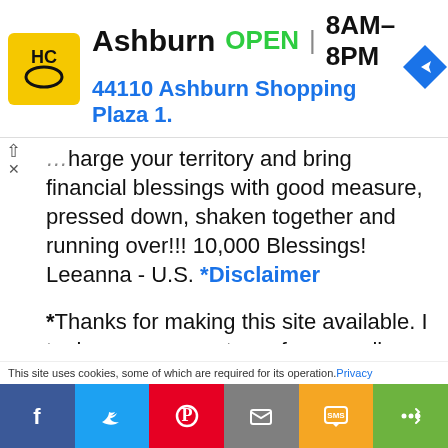[Figure (screenshot): Advertisement banner for Ashburn HC store showing logo, OPEN status, hours 8AM-8PM, address 44110 Ashburn Shopping Plaza 1., and navigation icon]
...marge your territory and bring financial blessings with good measure, pressed down, shaken together and running over!!! 10,000 Blessings! Leeanna - U.S. *Disclaimer
*Thanks for making this site available. I took over as secretary of our small church a few months ago, and I am having to create a lot of forms. This site is a blessing! - Vicki - U.S. *Disclaimer
*After years of frustration and being
This site uses cookies, some of which are required for its operation. Privacy
[Figure (screenshot): Social sharing bar with Facebook, Twitter, Pinterest, Email, SMS, and share buttons]